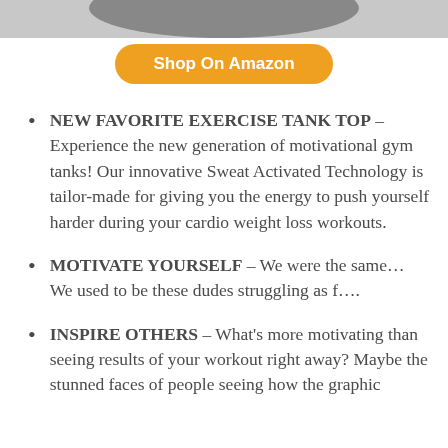[Figure (photo): Partial image of a product (exercise tank top) visible at top of page]
Shop On Amazon
NEW FAVORITE EXERCISE TANK TOP – Experience the new generation of motivational gym tanks! Our innovative Sweat Activated Technology is tailor-made for giving you the energy to push yourself harder during your cardio weight loss workouts.
MOTIVATE YOURSELF – We were the same… We used to be these dudes struggling as f….
INSPIRE OTHERS – What's more motivating than seeing results of your workout right away? Maybe the stunned faces of people seeing how the graphic